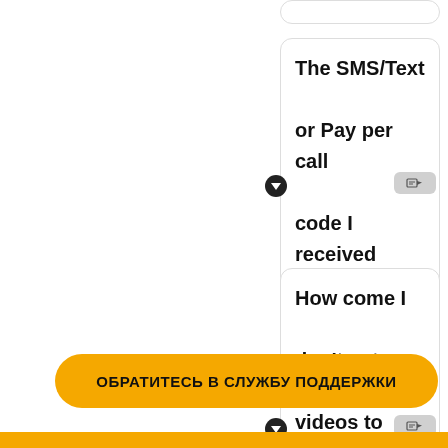The SMS/Text or Pay per call code I received does not work
How come I don't get any videos to watch?
ОБРАТИТЕСЬ В СЛУЖБУ ПОДДЕРЖКИ